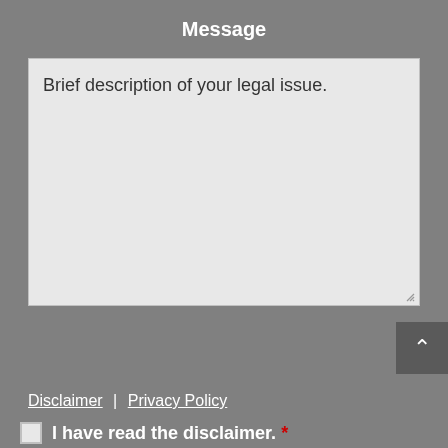Message
Brief description of your legal issue.
Disclaimer | Privacy Policy
I have read the disclaimer. *